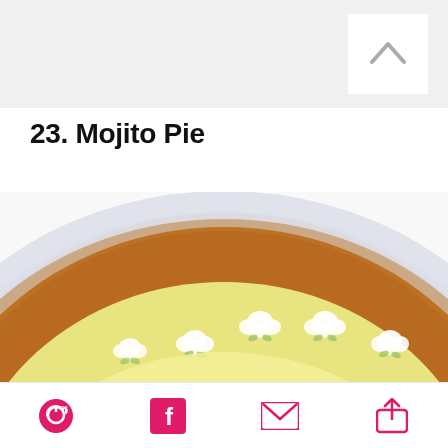23. Mojito Pie
[Figure (photo): Close-up overhead photo of a Mojito Pie in a white pie dish, showing a golden graham cracker crust with a row of white whipped cream rosettes along the edge, and a pale yellow lime filling in the center.]
Pinterest, Facebook, Email, Share icons